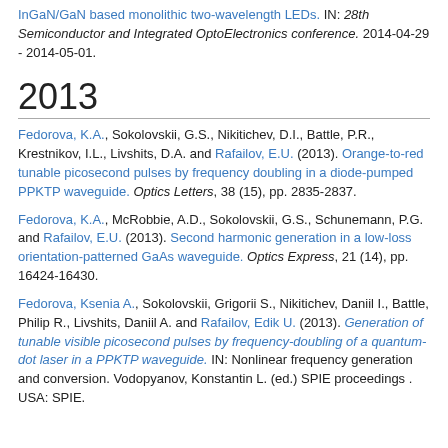InGaN/GaN based monolithic two-wavelength LEDs. IN: 28th Semiconductor and Integrated OptoElectronics conference. 2014-04-29 - 2014-05-01.
2013
Fedorova, K.A., Sokolovskii, G.S., Nikitichev, D.I., Battle, P.R., Krestnikov, I.L., Livshits, D.A. and Rafailov, E.U. (2013). Orange-to-red tunable picosecond pulses by frequency doubling in a diode-pumped PPKTP waveguide. Optics Letters, 38 (15), pp. 2835-2837.
Fedorova, K.A., McRobbie, A.D., Sokolovskii, G.S., Schunemann, P.G. and Rafailov, E.U. (2013). Second harmonic generation in a low-loss orientation-patterned GaAs waveguide. Optics Express, 21 (14), pp. 16424-16430.
Fedorova, Ksenia A., Sokolovskii, Grigorii S., Nikitichev, Daniil I., Battle, Philip R., Livshits, Daniil A. and Rafailov, Edik U. (2013). Generation of tunable visible picosecond pulses by frequency-doubling of a quantum-dot laser in a PPKTP waveguide. IN: Nonlinear frequency generation and conversion. Vodopyanov, Konstantin L. (ed.) SPIE proceedings . USA: SPIE.